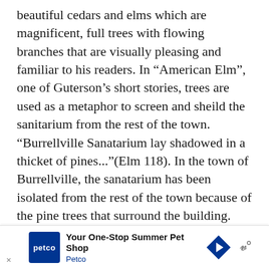beautiful cedars and elms which are magnificent, full trees with flowing branches that are visually pleasing and familiar to his readers. In “American Elm”, one of Guterson’s short stories, trees are used as a metaphor to screen and sheild the sanitarium from the rest of the town. “Burrellville Sanatarium lay shadowed in a thicket of pines...”(Elm 118). In the town of Burrellville, the sanatarium has been isolated from the rest of the town because of the pine trees that surround the building. The trees offer protection to the sanitarium. “...the old people waited...in the light that filtered through the pines...”(Elm 118). The people who live in the sanatarium are not in touch with the outside world, but instead they are in touch with
[Figure (other): Petco advertisement banner: 'Your One-Stop Summer Pet Shop' with Petco logo and blue navigation arrow icon]